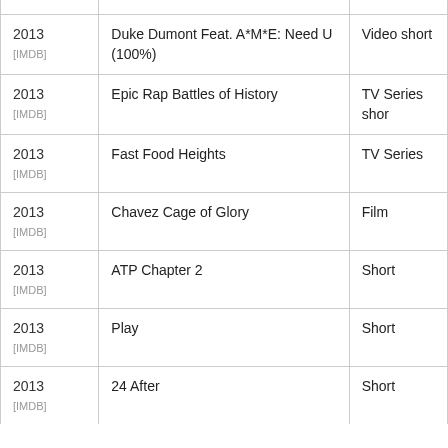| Year | Title | Type |
| --- | --- | --- |
| 2013 [IMDB] | Duke Dumont Feat. A*M*E: Need U (100%) | Video short |
| 2013 [IMDB] | Epic Rap Battles of History | TV Series shor |
| 2013 [IMDB] | Fast Food Heights | TV Series |
| 2013 [IMDB] | Chavez Cage of Glory | Film |
| 2013 [IMDB] | ATP Chapter 2 | Short |
| 2013 [IMDB] | Play | Short |
| 2013 [IMDB] | 24 After | Short |